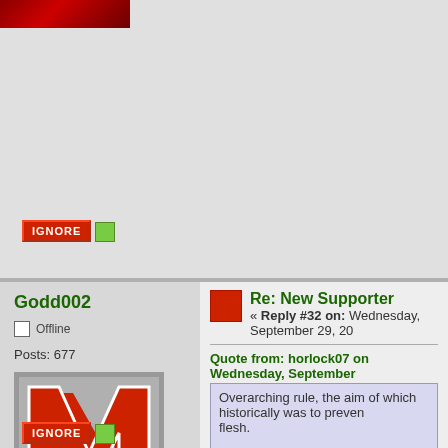[Figure (screenshot): Top banner with red fabric/cloth image]
[Figure (screenshot): Ignore button with red background and green icon]
Godd002
Offline
Posts: 677
[Figure (photo): Nebraska Huskers logo image - red N with HUSKERS text on grey background]
Go Big Red
Re: New Supporter
« Reply #32 on: Wednesday, September 29, 20
Quote from: horlock07 on Wednesday, September
Overarching rule, the aim of which historically was to prevent flesh.
The most recent high profile example was the fuss that Ron
I can see that reasoning but in today's world with same money and maybe more.  really that is bas
our sporting KC matches are on Tv all the time b